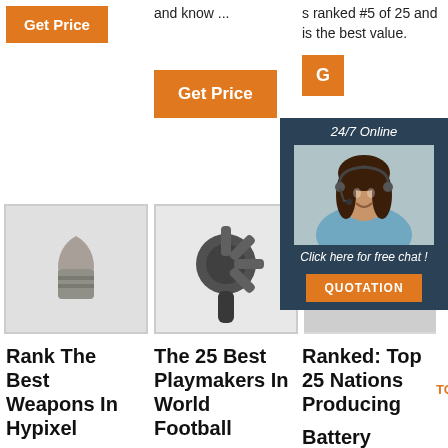[Figure (screenshot): Orange 'Get Price' button in top-left column]
and know ...
s ranked #5 of 25 and is the best value.
[Figure (screenshot): Orange 'Get Price' button in middle column]
[Figure (screenshot): 24/7 Online chat overlay with customer service representative photo, 'Click here for free chat!' text, and QUOTATION button]
[Figure (photo): Grayscale photo of a metallic bullet or projectile component]
[Figure (photo): Grayscale photo of a multi-pronged drill bit or mechanical component]
[Figure (photo): Partially visible grayscale photo]
Rank The Best Weapons In Hypixel
The 25 Best Playmakers In World Football
Ranked: Top 25 Nations Producing Battery